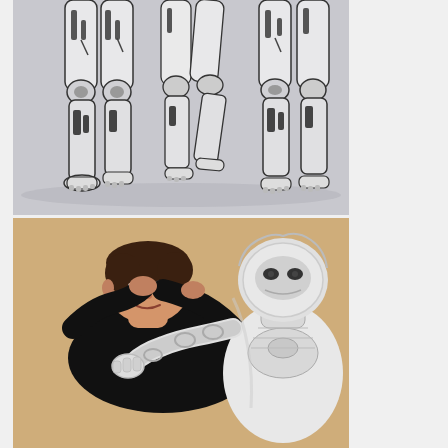[Figure (photo): Close-up of multiple humanoid robot lower bodies showing mechanical legs and feet in white and gray tones against a light gray background]
[Figure (photo): A man in a black shirt lying down with a white humanoid robot embracing him, appearing to nuzzle his face, against a beige/tan background]